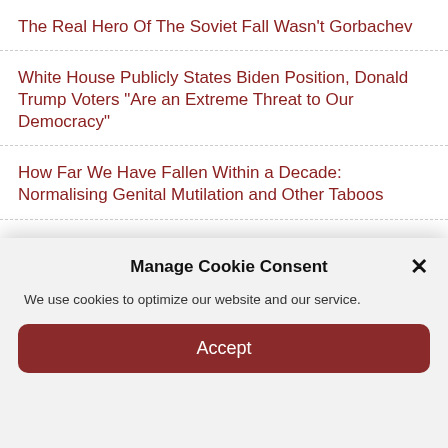The Real Hero Of The Soviet Fall Wasn't Gorbachev
White House Publicly States Biden Position, Donald Trump Voters "Are an Extreme Threat to Our Democracy"
How Far We Have Fallen Within a Decade: Normalising Genital Mutilation and Other Taboos
California Power Grid Declares Flex Alert, Urges Residents To Not Charge Electric Vehicles
Ron Johnson Is The Left's No. 1 Midterm Target Because He Hits Swamp Elites Where It Hurts
Manage Cookie Consent
We use cookies to optimize our website and our service.
Accept